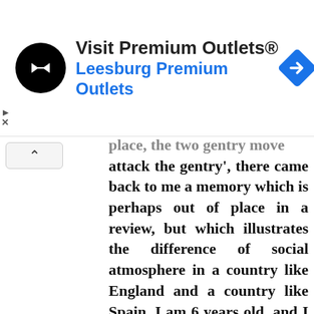[Figure (screenshot): Advertisement banner for Visit Premium Outlets® — Leesburg Premium Outlets. Contains a circular black logo with arrows, the outlet name in bold dark text, subtitle in blue, and a blue diamond-shaped navigation arrow icon on the right.]
attack the gentry', there came back to me a memory which is perhaps out of place in a review, but which illustrates the difference of social atmosphere in a country like England and a country like Spain. I am 6 years old, and I am walking along a street in our little town with my mother and a wealthy local brewer, who is also a magistrate. The tarred fence is covered with chalk drawings, some of which I have made myself. The magistrate stops,